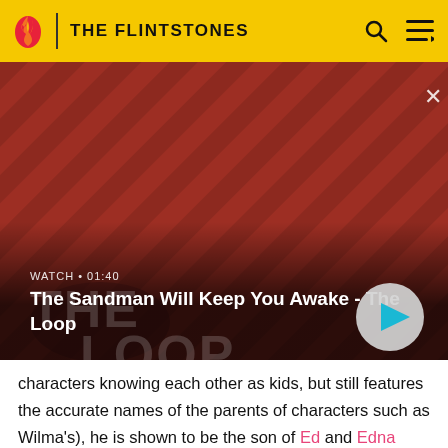THE FLINTSTONES
[Figure (screenshot): Video thumbnail showing a dark-cloaked figure with a raven on his shoulder against a red and black diagonal striped background. Shows WATCH • 01:40 label and title 'The Sandman Will Keep You Awake - The Loop' with a play button.]
characters knowing each other as kids, but still features the accurate names of the parents of characters such as Wilma's), he is shown to be the son of Ed and Edna Flintstone. In the special, The Flintstone Kids' "Just Say No" Special, it is shown that he has a cool cousin from